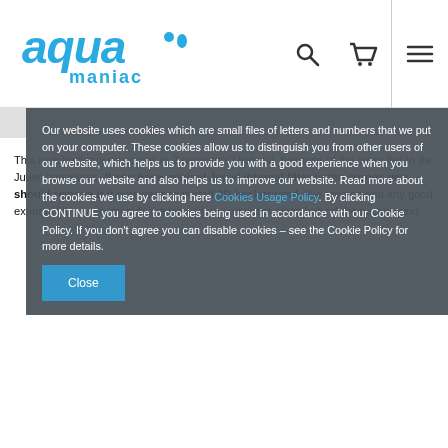aqua maniac [logo with search, cart, and menu icons]
This rock background comes in 2 sections (2 halves), because of the cross bar in the Juwel aquariums. If you have original Juwel internal filter in the corner, you should remove it if you want to install 3D background. We recommend any good external filter, you can hide the inlet pipes and outlet pipes behind the background.
Our website uses cookies which are small files of letters and numbers that we put on your computer. These cookies allow us to distinguish you from other users of our website, which helps us to provide you with a good experience when you browse our website and also helps us to improve our website. Read more about the cookies we use by clicking here Cookies Usage Policy. By clicking CONTINUE you agree to cookies being used in accordance with our Cookie Policy. If you don't agree you can disable cookies – see the Cookie Policy for more details.